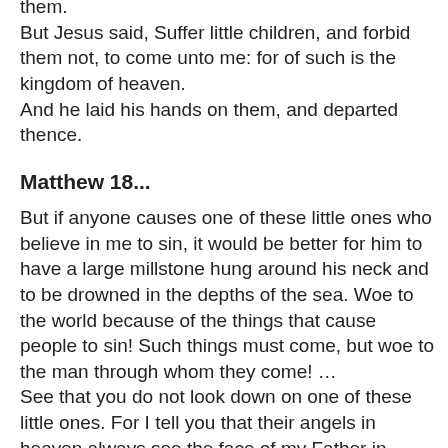them. But Jesus said, Suffer little children, and forbid them not, to come unto me: for of such is the kingdom of heaven. And he laid his hands on them, and departed thence.
Matthew 18...
But if anyone causes one of these little ones who believe in me to sin, it would be better for him to have a large millstone hung around his neck and to be drowned in the depths of the sea. Woe to the world because of the things that cause people to sin! Such things must come, but woe to the man through whom they come! … See that you do not look down on one of these little ones. For I tell you that their angels in heaven always see the face of my Father in heaven.